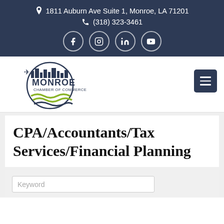1811 Auburn Ave Suite 1, Monroe, LA 71201
(318) 323-3461
[Figure (logo): Monroe Chamber of Commerce logo with airplane, building silhouette, and wave design]
CPA/Accountants/Tax Services/Financial Planning
Keyword